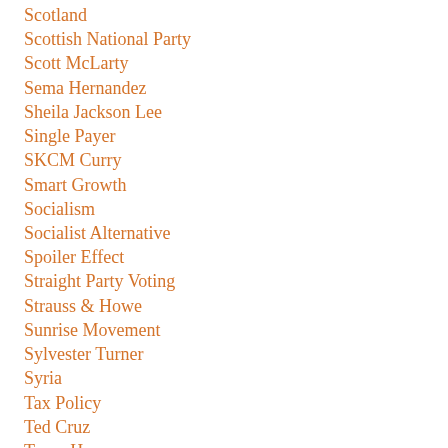Scotland
Scottish National Party
Scott McLarty
Sema Hernandez
Sheila Jackson Lee
Single Payer
SKCM Curry
Smart Growth
Socialism
Socialist Alternative
Spoiler Effect
Straight Party Voting
Strauss & Howe
Sunrise Movement
Sylvester Turner
Syria
Tax Policy
Ted Cruz
Texas House
Texas Leftist
Texas Legislature